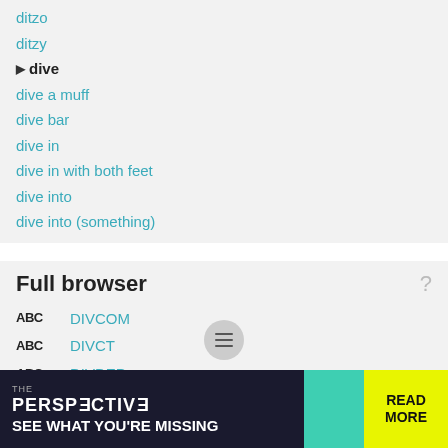ditzo
ditzy
dive
dive a muff
dive bar
dive in
dive in with both feet
dive into
dive into (something)
Full browser
DIVCOM
DIVCT
DIVDEP
dive
dive a muff
Dive and Lift Control
[Figure (screenshot): Advertisement banner: THE PERSPECTIVE - SEE WHAT YOU'RE MISSING with READ MORE button]